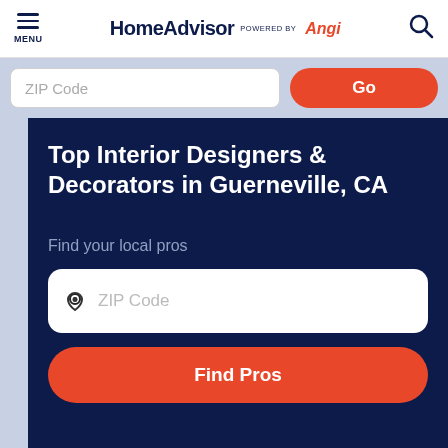MENU  HomeAdvisor POWERED BY Angi
ZIP Code  Go
Top Interior Designers & Decorators in Guerneville, CA
Find your local pros
ZIP Code
Find Pros